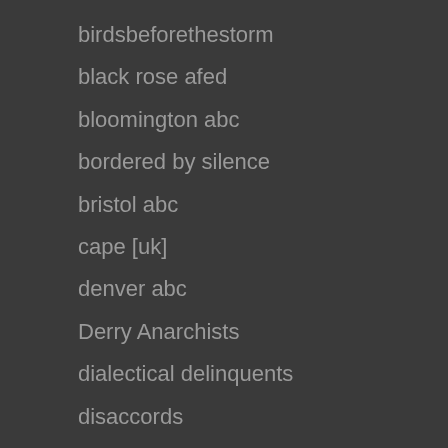birdsbeforethestorm
black rose afed
bloomington abc
bordered by silence
bristol abc
cape [uk]
denver abc
Derry Anarchists
dialectical delinquents
disaccords
free marius mason
free wallmapu
freedom for thomas
hambach forest [germany]
haven distribution